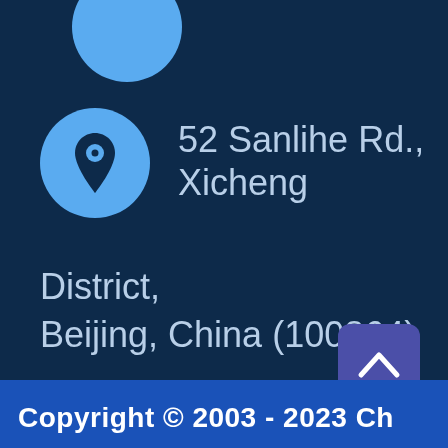[Figure (illustration): Partial blue circle cropped at top of page]
[Figure (illustration): Blue circle with a white location pin icon]
52 Sanlihe Rd., Xicheng District, Beijing, China (100864)
[Figure (illustration): Purple rounded square button with white upward chevron arrow (back to top)]
Copyright © 2003 - 2023 Ch